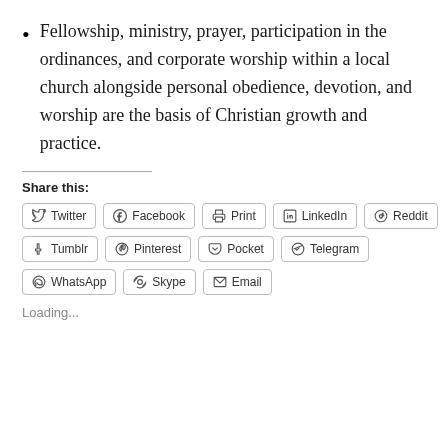Fellowship, ministry, prayer, participation in the ordinances, and corporate worship within a local church alongside personal obedience, devotion, and worship are the basis of Christian growth and practice.
Share this:
Twitter | Facebook | Print | LinkedIn | Reddit | Tumblr | Pinterest | Pocket | Telegram | WhatsApp | Skype | Email
Loading...